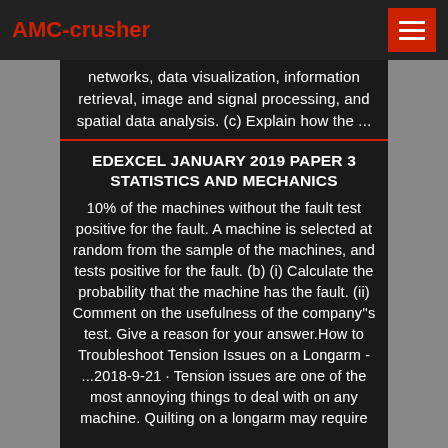AMC-crusher
networks, data visualization, information retrieval, image and signal processing, and spatial data analysis. (c) Explain how the ...
EDEXCEL JANUARY 2019 PAPER 3 STATISTICS AND MECHANICS
10% of the machines without the fault test positive for the fault. A machine is selected at random from the sample of the machines, and tests positive for the fault. (b) (i) Calculate the probability that the machine has the fault. (ii) Comment on the usefulness of the company''s test. Give a reason for your answer.How to Troubleshoot Tension Issues on a Longarm - ...2018-9-21 · Tension issues are one of the most annoying things to deal with on any machine. Quilting on a longarm may require